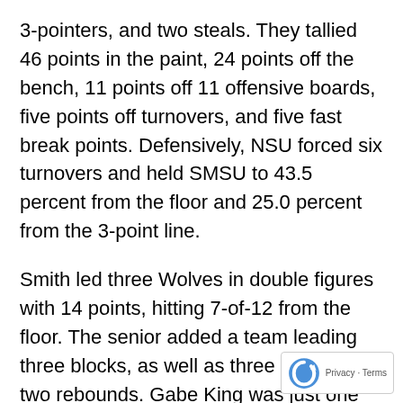3-pointers, and two steals. They tallied 46 points in the paint, 24 points off the bench, 11 points off 11 offensive boards, five points off turnovers, and five fast break points. Defensively, NSU forced six turnovers and held SMSU to 43.5 percent from the floor and 25.0 percent from the 3-point line.
Smith led three Wolves in double figures with 14 points, hitting 7-of-12 from the floor. The senior added a team leading three blocks, as well as three assists and two rebounds. Gabe King was just one point shy of Smith's total with 13 in the game. He shot 62.5 percent from the floor, and led the with four assists.